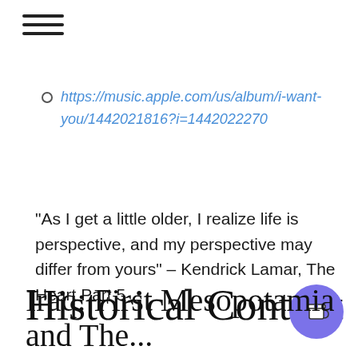☰ (hamburger menu icon)
https://music.apple.com/us/album/i-want-you/1442021816?i=1442022270
"As I get a little older, I realize life is perspective, and my perspective may differ from yours" – Kendrick Lamar, The Heart Part 5
Historical Context
Iraq: First Mesopotamia and The...